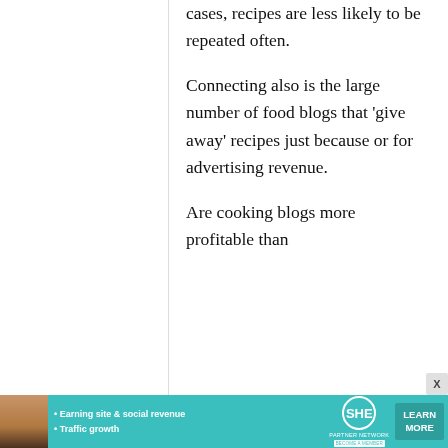cases, recipes are less likely to be repeated often.
Connecting also is the large number of food blogs that 'give away' recipes just because or for advertising revenue.
Are cooking blogs more profitable than
[Figure (infographic): Advertisement banner for SHE Media Partner Network featuring a woman's photo, bullet points about Earning site & social revenue and Traffic growth, the SHE logo, and a teal LEARN MORE button]